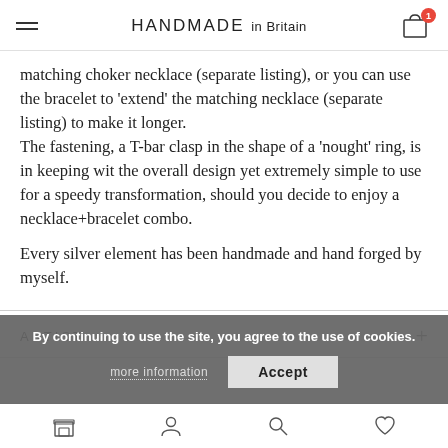HANDMADE in Britain
matching choker necklace (separate listing), or you can use the bracelet to ‘extend’ the matching necklace (separate listing) to make it longer.
The fastening, a T-bar clasp in the shape of a ‘nought’ ring, is in keeping wit the overall design yet extremely simple to use for a speedy transformation, should you decide to enjoy a necklace+bracelet combo.

Every silver element has been handmade and hand forged by myself.
ARTIST
By continuing to use the site, you agree to the use of cookies.
more information
Accept